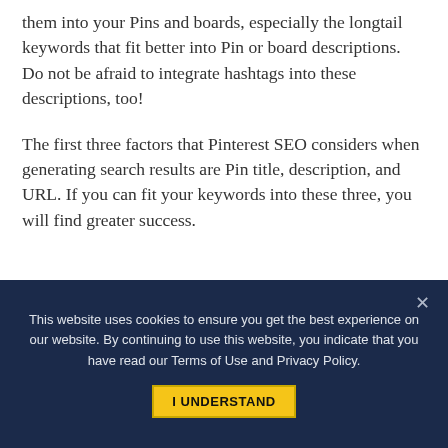them into your Pins and boards, especially the longtail keywords that fit better into Pin or board descriptions. Do not be afraid to integrate hashtags into these descriptions, too!
The first three factors that Pinterest SEO considers when generating search results are Pin title, description, and URL. If you can fit your keywords into these three, you will find greater success.
This website uses cookies to ensure you get the best experience on our website. By continuing to use this website, you indicate that you have read our Terms of Use and Privacy Policy.
I UNDERSTAND